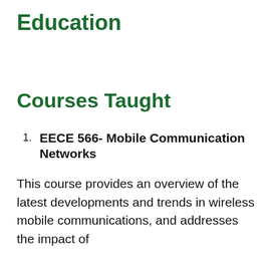Education
Courses Taught
EECE 566- Mobile Communication Networks
This course provides an overview of the latest developments and trends in wireless mobile communications, and addresses the impact of